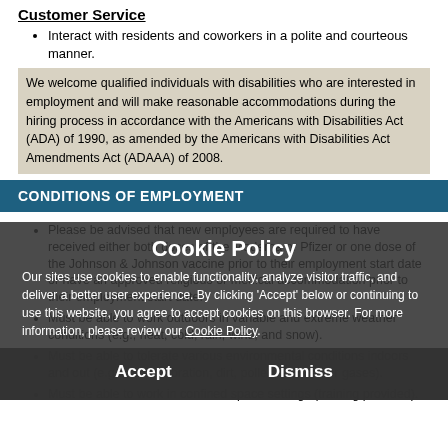Customer Service
Interact with residents and coworkers in a polite and courteous manner.
We welcome qualified individuals with disabilities who are interested in employment and will make reasonable accommodations during the hiring process in accordance with the Americans with Disabilities Act (ADA) of 1990, as amended by the Americans with Disabilities Act Amendments Act (ADAAA) of 2008.
CONDITIONS OF EMPLOYMENT
Please be advised that new employees are required to have received either both doses of the Moderna or Pfizer or one dose of the Johnson & Johnson vaccine prior to their employment start date or have an approved religious or medical accommodation prior to their employment start date.
Must be able to work outdoors in variable and extreme weather conditions (e.g., heat, cold, rain, wind, and snow).
Must be able to tolerate various environmental conditions indoors and out (e.g., noise, vibration, dirt, pollen, and sewer gases).
Must be able to work in confined space settings (training provided).
Cookie Policy
Our sites use cookies to enable functionality, analyze visitor traffic, and deliver a better user experience. By clicking 'Accept' below or continuing to use this website, you agree to accept cookies on this browser. For more information, please review our Cookie Policy.
Accept   Dismiss